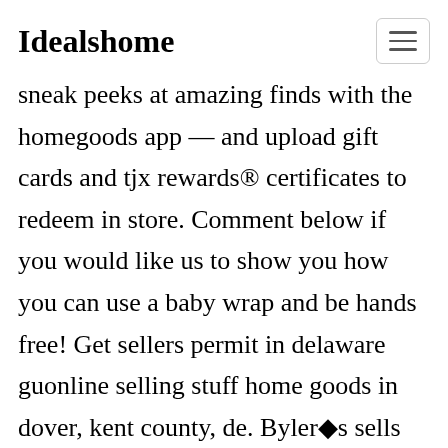Idealshome
sneak peeks at amazing finds with the homegoods app — and upload gift cards and tjx rewards® certificates to redeem in store. Comment below if you would like us to show you how you can use a baby wrap and be hands free! Get sellers permit in delaware guonline selling stuff home goods in dover, kent county, de. Byler�s sells home goods and housewares at their country store in harrington and west dover,